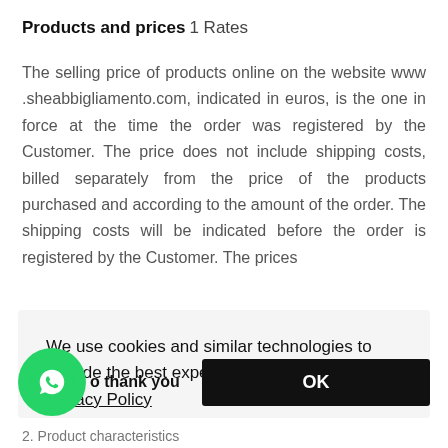Products and prices 1 Rates
The selling price of products online on the website www.sheabbigliamento.com, indicated in euros, is the one in force at the time the order was registered by the Customer. The price does not include shipping costs, billed separately from the price of the products purchased and according to the amount of the order. The shipping costs will be indicated before the order is registered by the Customer. The prices
We use cookies and similar technologies to provide the best experience on our website. Privacy Policy
to thank you
OK
2. Product characteristics